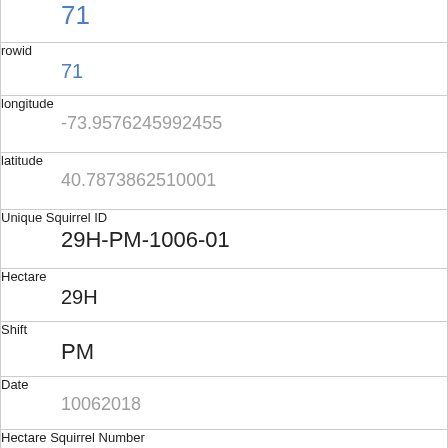| 71 (link) |
| rowid | 71 |
| longitude | -73.9576245992455 |
| latitude | 40.7873862510001 |
| Unique Squirrel ID | 29H-PM-1006-01 |
| Hectare | 29H |
| Shift | PM |
| Date | 10062018 |
| Hectare Squirrel Number | 1 |
| Age | Adult |
| Primary Fur Color | Gray (partial) |